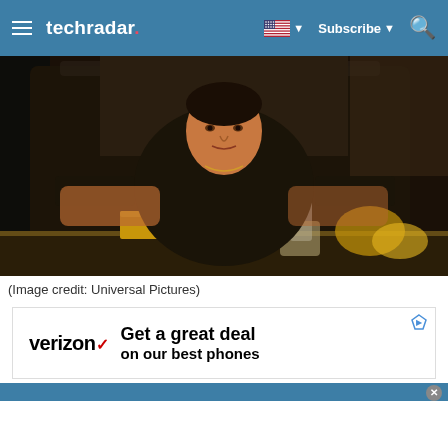techradar — Subscribe (navigation bar)
[Figure (photo): A man in a black shirt sits in a large dark chair behind a reflective desk with gold accessories and a glass decanter — a still from the movie Scarface.]
(Image credit: Universal Pictures)
[Figure (other): Verizon advertisement banner: 'Get a great deal on our best phones']